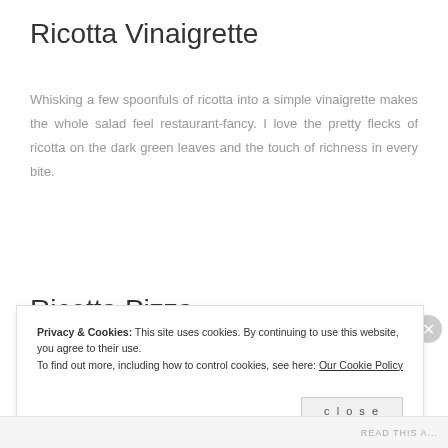Ricotta Vinaigrette
Whisking a few spoonfuls of ricotta into a simple vinaigrette makes the whole salad feel restaurant-fancy. I love the pretty flecks of ricotta on the dark green leaves and the touch of richness in every bite.
Ricotta Pizza
Privacy & Cookies: This site uses cookies. By continuing to use this website, you agree to their use.
To find out more, including how to control cookies, see here: Our Cookie Policy
close